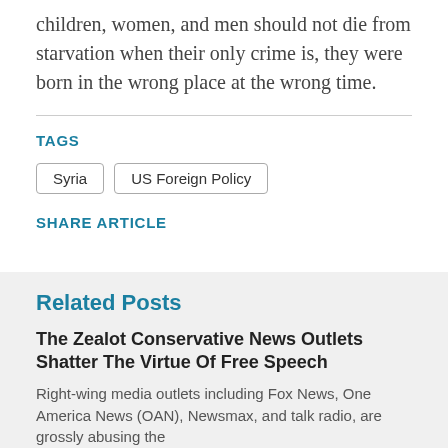children, women, and men should not die from starvation when their only crime is, they were born in the wrong place at the wrong time.
TAGS
Syria
US Foreign Policy
SHARE ARTICLE
Related Posts
The Zealot Conservative News Outlets Shatter The Virtue Of Free Speech
Right-wing media outlets including Fox News, One America News (OAN), Newsmax, and talk radio, are grossly abusing the